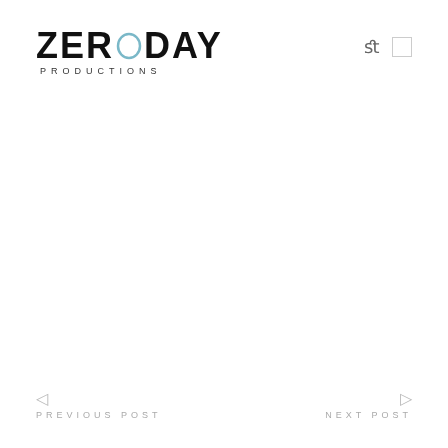[Figure (logo): ZERODAY PRODUCTIONS logo with stylized O as a circle outline in teal/blue, large bold black text for ZERODAY, smaller spaced uppercase PRODUCTIONS below]
fl  □
◁  PREVIOUS POST          NEXT POST  ▷